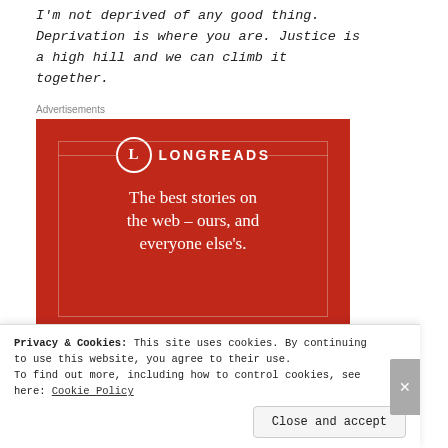I'm not deprived of any good thing. Deprivation is where you are. Justice is a high hill and we can climb it together.
Advertisements
[Figure (illustration): Longreads advertisement on red background. Logo with 'L' in a circle followed by 'LONGREADS' in white. Tagline: 'The best stories on the web – ours, and everyone else's.' with a decorative inner border rectangle.]
Privacy & Cookies: This site uses cookies. By continuing to use this website, you agree to their use.
To find out more, including how to control cookies, see here: Cookie Policy